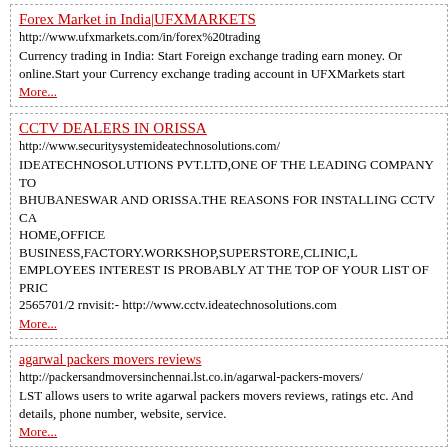Forex Market in India|UFXMARKETS
http://www.ufxmarkets.com/in/forex%20trading
Currency trading in India: Start Foreign exchange trading earn money. Online. Start your Currency exchange trading account in UFXMarkets start
More...
CCTV DEALERS IN ORISSA
http://www.securitysystemideatechnosolutions.com/
IDEATECHNOSOLUTIONS PVT.LTD,ONE OF THE LEADING COMPANY TO BHUBANESWAR AND ORISSA.THE REASONS FOR INSTALLING CCTV CAM HOME,OFFICE BUSINESS,FACTORY.WORKSHOP,SUPERSTORE,CLINIC,L EMPLOYEES INTEREST IS PROBABLY AT THE TOP OF YOUR LIST OF PRIC 2565701/2 rnvisit:- http://www.cctv.ideatechnosolutions.com
More...
agarwal packers movers reviews
http://packersandmoversinchennai.lst.co.in/agarwal-packers-movers/
LST allows users to write agarwal packers movers reviews, ratings etc. And details, phone number, website, service.
More...
Dynamics Axapta partner in UAE
http://www.bemea.com/xapta
Microsoft Dynamics Axapta is a business solution for global enterprises th processes, along with comprehensive, core ERP functionality for financial people to anticipate and embrace change so your business can thrive.rn
More